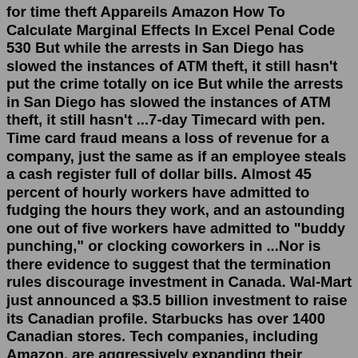for time theft Appareils Amazon How To Calculate Marginal Effects In Excel Penal Code 530 But while the arrests in San Diego has slowed the instances of ATM theft, it still hasn't put the crime totally on ice But while the arrests in San Diego has slowed the instances of ATM theft, it still hasn't ...7-day Timecard with pen. Time card fraud means a loss of revenue for a company, just the same as if an employee steals a cash register full of dollar bills. Almost 45 percent of hourly workers have admitted to fudging the hours they work, and an astounding one out of five workers have admitted to "buddy punching," or clocking coworkers in ...Nor is there evidence to suggest that the termination rules discourage investment in Canada. Wal-Mart just announced a $3.5 billion investment to raise its Canadian profile. Starbucks has over 1400 Canadian stores. Tech companies, including Amazon, are aggressively expanding their Canadian footprint. When U.S. companies cross the border into ...Report